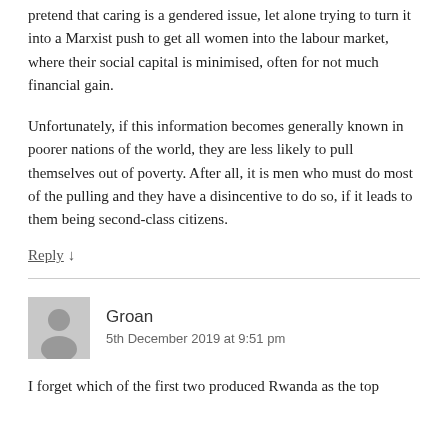pretend that caring is a gendered issue, let alone trying to turn it into a Marxist push to get all women into the labour market, where their social capital is minimised, often for not much financial gain.
Unfortunately, if this information becomes generally known in poorer nations of the world, they are less likely to pull themselves out of poverty. After all, it is men who must do most of the pulling and they have a disincentive to do so, if it leads to them being second-class citizens.
Reply ↓
Groan
5th December 2019 at 9:51 pm
I forget which of the first two produced Rwanda as the top